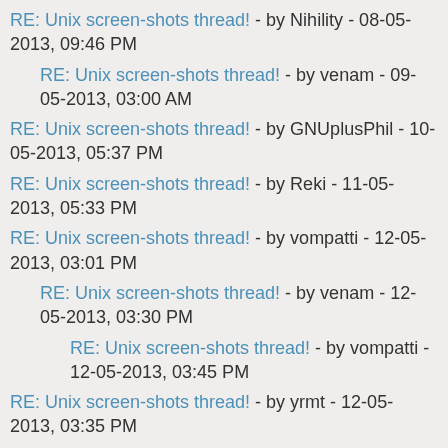RE: Unix screen-shots thread! - by Nihility - 08-05-2013, 09:46 PM
RE: Unix screen-shots thread! - by venam - 09-05-2013, 03:00 AM
RE: Unix screen-shots thread! - by GNUplusPhil - 10-05-2013, 05:37 PM
RE: Unix screen-shots thread! - by Reki - 11-05-2013, 05:33 PM
RE: Unix screen-shots thread! - by vompatti - 12-05-2013, 03:01 PM
RE: Unix screen-shots thread! - by venam - 12-05-2013, 03:30 PM
RE: Unix screen-shots thread! - by vompatti - 12-05-2013, 03:45 PM
RE: Unix screen-shots thread! - by yrmt - 12-05-2013, 03:35 PM
RE: Unix screen-shots thread! - by Mafia - 16-05-2013, 05:45 PM
RE: Unix screen-shots thread! - by yrmt - 17-05-2013, 08:19 AM
RE: Unix screen-shots thread! - by Ippytraxx - 17-05-